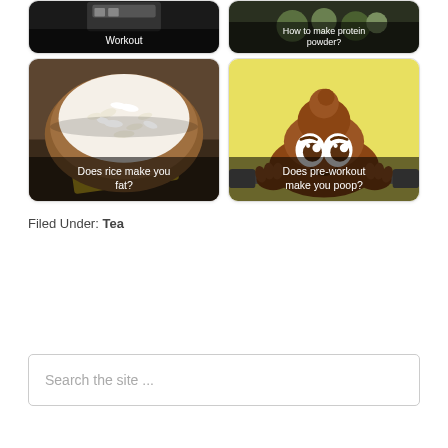[Figure (photo): Thumbnail card (partially visible at top): 'Workout' related image with dark background and white text label 'Workout']
[Figure (photo): Thumbnail card (partially visible at top): 'How to make protein powder?' with dark background and white text]
[Figure (photo): Card with photo of rice in a wooden bowl, caption 'Does rice make you fat?']
[Figure (illustration): Card with yellow background showing poop emoji cartoon, caption 'Does pre-workout make you poop?']
Filed Under: Tea
Search the site ...